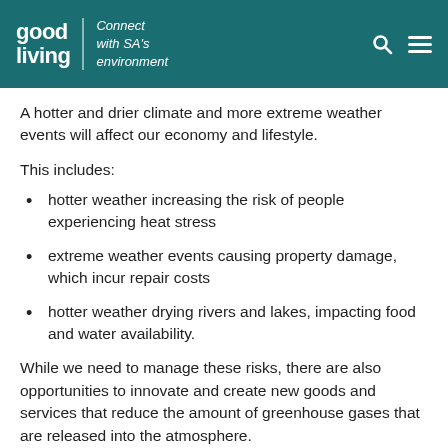good living | Connect with SA's environment
A hotter and drier climate and more extreme weather events will affect our economy and lifestyle.
This includes:
hotter weather increasing the risk of people experiencing heat stress
extreme weather events causing property damage, which incur repair costs
hotter weather drying rivers and lakes, impacting food and water availability.
While we need to manage these risks, there are also opportunities to innovate and create new goods and services that reduce the amount of greenhouse gases that are released into the atmosphere.